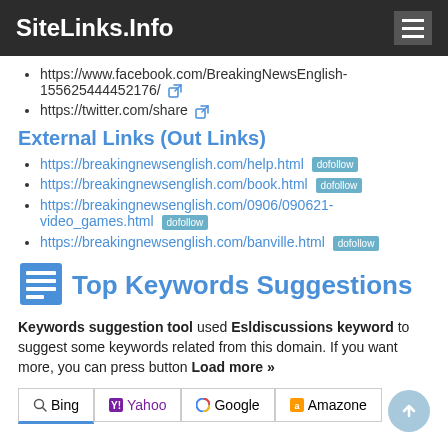SiteLinks.Info
https://www.facebook.com/BreakingNewsEnglish-155625444452176/
https://twitter.com/share
External Links (Out Links)
https://breakingnewsenglish.com/help.html dofollow
https://breakingnewsenglish.com/book.html dofollow
https://breakingnewsenglish.com/0906/090621-video_games.html dofollow
https://breakingnewsenglish.com/banville.html dofollow
Top Keywords Suggestions
Keywords suggestion tool used Esldiscussions keyword to suggest some keywords related from this domain. If you want more, you can press button Load more »